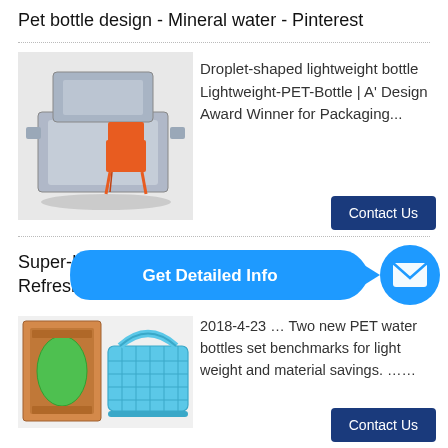Pet bottle design - Mineral water - Pinterest
[Figure (screenshot): Photo showing plastic injection molds with an orange chair on top]
Droplet-shaped lightweight bottle Lightweight-PET-Bottle | A' Design Award Winner for Packaging...
[Figure (infographic): Blue 'Get Detailed Info' button with arrow and blue email circle button overlay]
Super-Lightweight PET Bottle for Quick Refreshment ...
[Figure (screenshot): Plastic mold design image and blue shopping basket image side by side]
2018-4-23 … Two new PET water bottles set benchmarks for light weight and material savings. ……